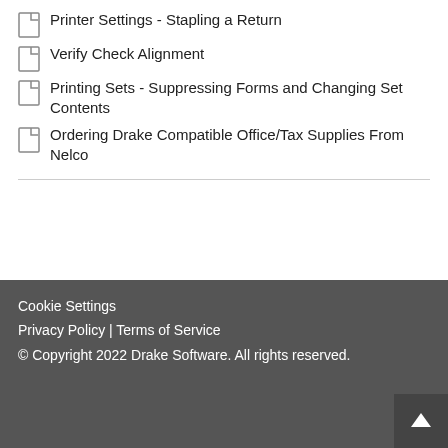Printer Settings - Stapling a Return
Verify Check Alignment
Printing Sets - Suppressing Forms and Changing Set Contents
Ordering Drake Compatible Office/Tax Supplies From Nelco
Cookie Settings
Privacy Policy | Terms of Service
© Copyright 2022 Drake Software. All rights reserved.